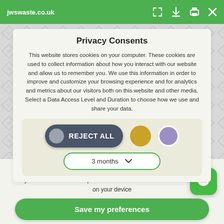jwswaste.co.uk
Privacy Consents
This website stores cookies on your computer. These cookies are used to collect information about how you interact with our website and allow us to remember you. We use this information in order to improve and customize your browsing experience and for analytics and metrics about our visitors both on this website and other media. Select a Data Access Level and Duration to choose how we use and share your data.
[Figure (other): Cookie consent controls: a dark toggle button labeled REJECT ALL with a grey circle, a gold circle option, and a purple circle option, plus a '3 months' dropdown selector with a chevron]
Highest level of privacy. Data accessed for necessary basic operations only. Data shared with 3rd parties to ensure the site is secure and works on your device
Save my preferences